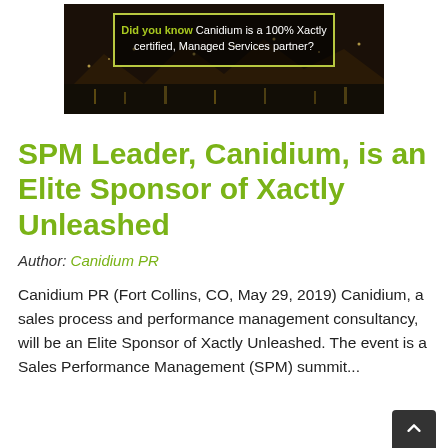[Figure (photo): Banner image showing a city bridge at night with text: 'Did you know Canidium is a 100% Xactly certified, Managed Services partner?' in a highlighted box.]
SPM Leader, Canidium, is an Elite Sponsor of Xactly Unleashed
Author: Canidium PR
Canidium PR (Fort Collins, CO, May 29, 2019) Canidium, a sales process and performance management consultancy, will be an Elite Sponsor of Xactly Unleashed. The event is a Sales Performance Management (SPM) summit...